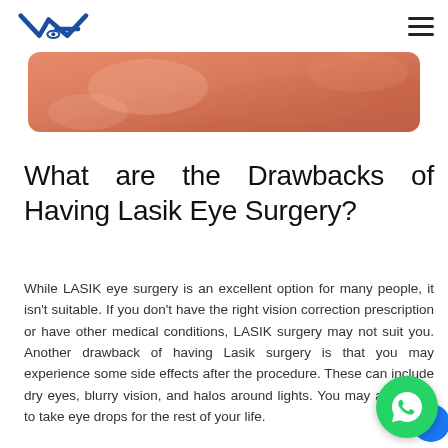VA [logo with eye icon] | hamburger menu
[Figure (photo): Close-up medical/eye image with warm peach/orange tones, rounded corners]
What are the Drawbacks of Having Lasik Eye Surgery?
While LASIK eye surgery is an excellent option for many people, it isn't suitable. If you don't have the right vision correction prescription or have other medical conditions, LASIK surgery may not suit you. Another drawback of having Lasik surgery is that you may experience some side effects after the procedure. These can include dry eyes, blurry vision, and halos around lights. You may also have to take eye drops for the rest of your life.